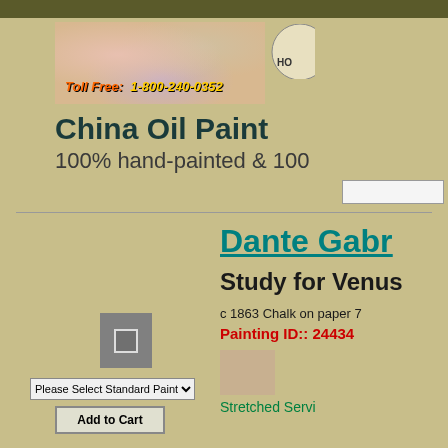[Figure (illustration): Banner image with classical painting background showing figures among flowers. Text overlay reads: Toll Free: 1-800-240-0352 in orange/yellow italic bold text.]
China Oil Paint
100% hand-painted & 100
Dante Gabr
Study for Venus
c 1863 Chalk on paper 7
Painting ID::  24434
Please Select Standard Painting Size
Add to Cart
Stretched Servi